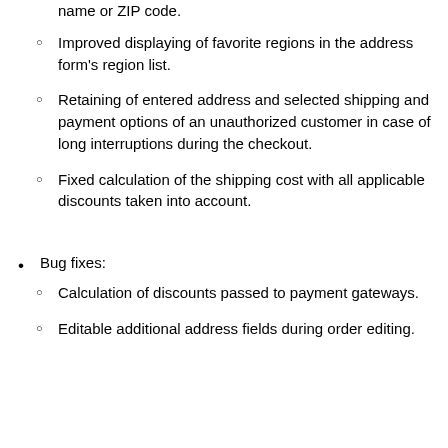name or ZIP code.
Improved displaying of favorite regions in the address form's region list.
Retaining of entered address and selected shipping and payment options of an unauthorized customer in case of long interruptions during the checkout.
Fixed calculation of the shipping cost with all applicable discounts taken into account.
Bug fixes:
Calculation of discounts passed to payment gateways.
Editable additional address fields during order editing.